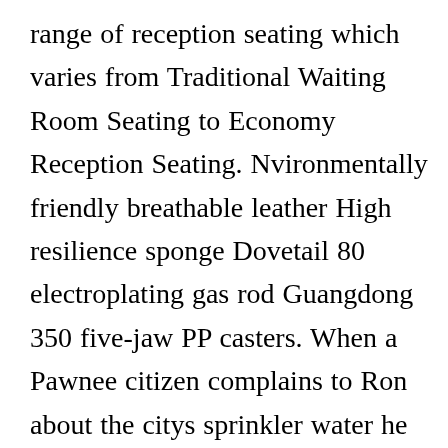range of reception seating which varies from Traditional Waiting Room Seating to Economy Reception Seating. Nvironmentally friendly breathable leather High resilience sponge Dovetail 80 electroplating gas rod Guangdong 350 five-jaw PP casters. When a Pawnee citizen complains to Ron about the citys sprinkler water he escapes the only way he can. The Oliver Tub Chair provides the perfect solution for a range of spaces offering a timeless deep seat [CLOSE X] that can stand